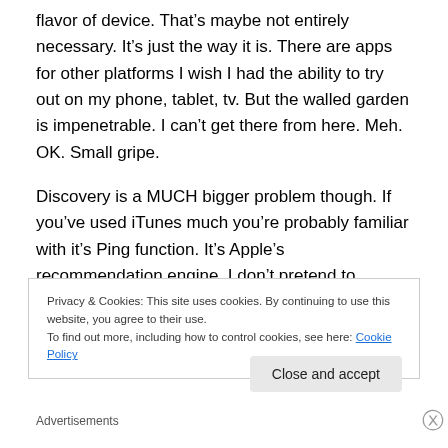flavor of device. That's maybe not entirely necessary. It's just the way it is. There are apps for other platforms I wish I had the ability to try out on my phone, tablet, tv. But the walled garden is impenetrable. I can't get there from here. Meh. OK. Small gripe.
Discovery is a MUCH bigger problem though. If you've used iTunes much you're probably familiar with it's Ping function. It's Apple's recommendation engine. I don't pretend to understand the logic or algorithms it uses to arrive at suggestions. Some are spot on. Others seem to
Privacy & Cookies: This site uses cookies. By continuing to use this website, you agree to their use.
To find out more, including how to control cookies, see here: Cookie Policy
Close and accept
Advertisements